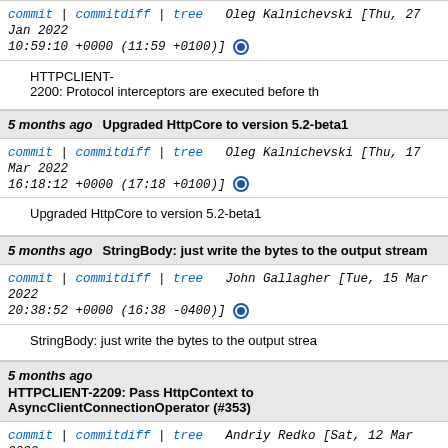commit | commitdiff | tree   Oleg Kalnichevski [Thu, 27 Jan 2022 10:59:10 +0000 (11:59 +0100)]
HTTPCLIENT-2200: Protocol interceptors are executed before th
5 months ago   Upgraded HttpCore to version 5.2-beta1
commit | commitdiff | tree   Oleg Kalnichevski [Thu, 17 Mar 2022 16:18:12 +0000 (17:18 +0100)]
Upgraded HttpCore to version 5.2-beta1
5 months ago   StringBody: just write the bytes to the output stream
commit | commitdiff | tree   John Gallagher [Tue, 15 Mar 2022 20:38:52 +0000 (16:38 -0400)]
StringBody: just write the bytes to the output strea
5 months ago   HTTPCLIENT-2209: Pass HttpContext to AsyncClientConnectionOperator (#353)
commit | commitdiff | tree   Andriy Redko [Sat, 12 Mar 2022 17:53:45 +0000 (12:53 -0500)]